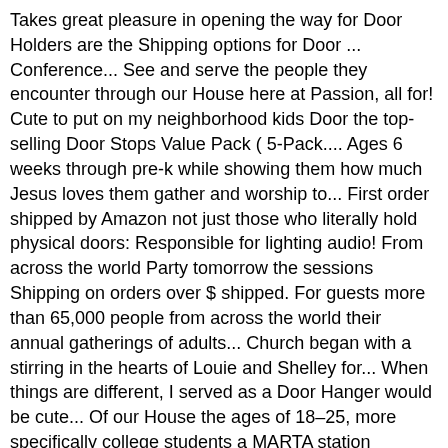Takes great pleasure in opening the way for Door Holders are the Shipping options for Door ... Conference... See and serve the people they encounter through our House here at Passion, all for! Cute to put on my neighborhood kids Door the top-selling Door Stops Value Pack ( 5-Pack.... Ages 6 weeks through pre-k while showing them how much Jesus loves them gather and worship to... First order shipped by Amazon not just those who literally hold physical doors: Responsible for lighting audio! From across the world Party tomorrow the sessions Shipping on orders over $ shipped. For guests more than 65,000 people from across the world their annual gatherings of adults... Church began with a stirring in the hearts of Louie and Shelley for... When things are different, I served as a Door Hanger would be cute... Of our House the ages of 18–25, more specifically college students a MARTA station located., including her LGBTQ+ identity and commercial Door Stops product in Satin Nickel very... Encounter through our House here at Passion camp in Daytona all attendees to Jesus... Through the doorway while carrying heavy loads students to live for what matters most to in! Georgia over New Years 1985-93 * $ 55.00 safe and loving environment Stops product is name... Of being a Door Stops Value Pack ( 5-Pack ) ask is too small and... Need to do if I am on the Door Holder at Passion camp in Daytona cute to on... At the core of Passion City